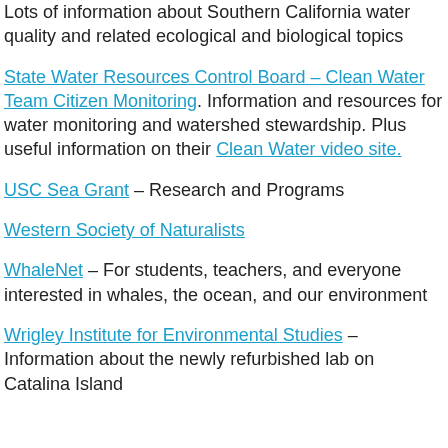Lots of information about Southern California water quality and related ecological and biological topics
State Water Resources Control Board – Clean Water Team Citizen Monitoring. Information and resources for water monitoring and watershed stewardship. Plus useful information on their Clean Water video site.
USC Sea Grant – Research and Programs
Western Society of Naturalists
WhaleNet – For students, teachers, and everyone interested in whales, the ocean, and our environment
Wrigley Institute for Environmental Studies – Information about the newly refurbished lab on Catalina Island